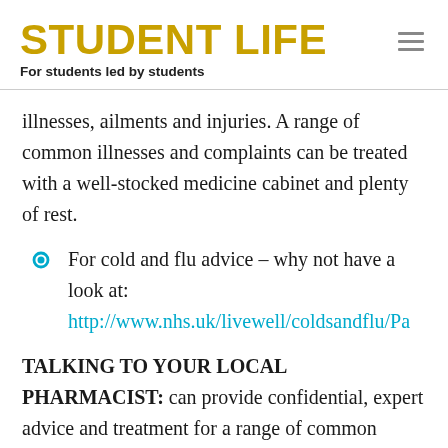STUDENT LIFE
For students led by students
illnesses, ailments and injuries. A range of common illnesses and complaints can be treated with a well-stocked medicine cabinet and plenty of rest.
For cold and flu advice – why not have a look at: http://www.nhs.uk/livewell/coldsandflu/Pa...
TALKING TO YOUR LOCAL PHARMACIST: can provide confidential, expert advice and treatment for a range of common illnesses and complaints, without